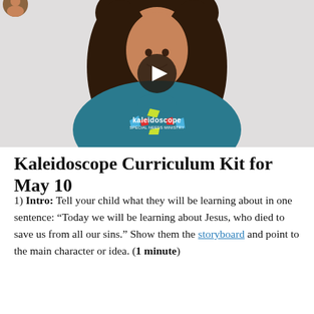[Figure (screenshot): Video thumbnail of a woman wearing a teal Kaleidoscope Special Needs Ministry t-shirt, with a play button overlay in the center.]
Kaleidoscope Curriculum Kit for May 10
1) Intro: Tell your child what they will be learning about in one sentence: “Today we will be learning about Jesus, who died to save us from all our sins.” Show them the storyboard and point to the main character or idea. (1 minute)